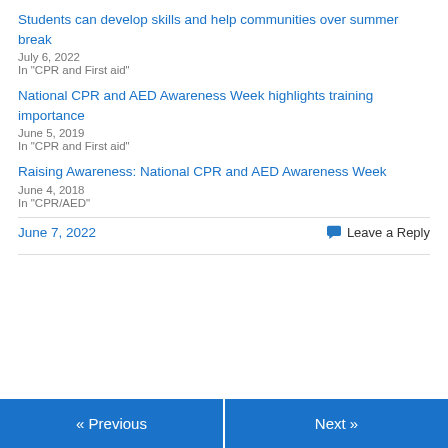Students can develop skills and help communities over summer break
July 6, 2022
In "CPR and First aid"
National CPR and AED Awareness Week highlights training importance
June 5, 2019
In "CPR and First aid"
Raising Awareness: National CPR and AED Awareness Week
June 4, 2018
In "CPR/AED"
June 7, 2022
Leave a Reply
« Previous
Next »